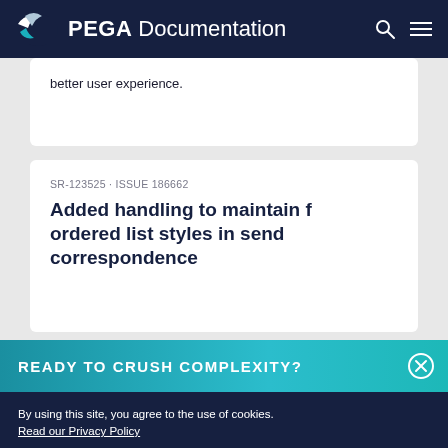PEGA Documentation
better user experience.
SR-123525 · ISSUE 186662
Added handling to maintain f ordered list styles in send correspondence
READY TO CRUSH COMPLEXITY?
By using this site, you agree to the use of cookies.
Read our Privacy Policy
Accept and continue   About cookies